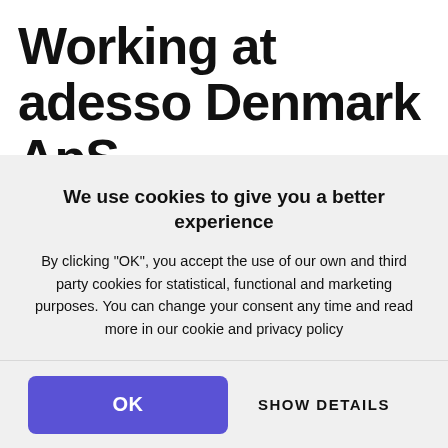Working at adesso Denmark ApS (tidl. Purple Scout)
We use cookies to give you a better experience
By clicking "OK", you accept the use of our own and third party cookies for statistical, functional and marketing purposes. You can change your consent any time and read more in our cookie and privacy policy
Only the necessary cookies
OK
SHOW DETAILS